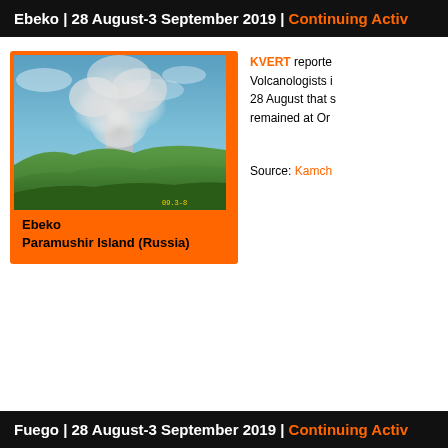Ebeko | 28 August-3 September 2019 | Continuing Activ...
[Figure (photo): Photograph of Ebeko volcano on Paramushir Island, Russia, showing a large volcanic ash and steam plume rising above green hills under a blue sky. Timestamp visible in lower right: 09.3-8]
Ebeko
Paramushir Island (Russia)
KVERT reported that Volcanologists in 28 August that s... remained at Or...
Source: Kamch...
Fuego | 28 August-3 September 2019 | Continuing Activ...